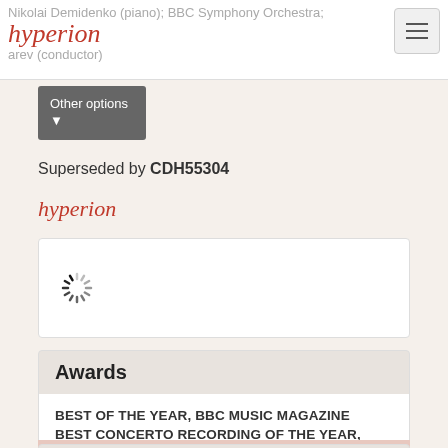Nikolai Demidenko (piano); BBC Symphony Orchestra; ... (conductor)
[Figure (logo): Hyperion records cursive red logo]
Other options ▼
Superseded by CDH55304
[Figure (logo): Small Hyperion cursive red logo]
[Figure (other): Loading spinner indicator]
Awards
BEST OF THE YEAR, BBC MUSIC MAGAZINE
BEST CONCERTO RECORDING OF THE YEAR, CLASSIC CD
OK
Reviews